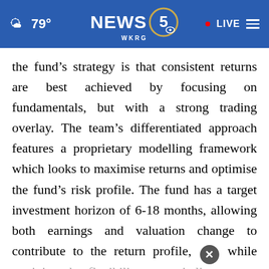79° NEWS 5 WKRG · LIVE
the fund's strategy is that consistent returns are best achieved by focusing on fundamentals, but with a strong trading overlay. The team's differentiated approach features a proprietary modelling framework which looks to maximise returns and optimise the fund's risk profile. The fund has a target investment horizon of 6-18 months, allowing both earnings and valuation change to contribute to the return profile, while retaining the flexibility to capitalise on opportunities presented by sharp market